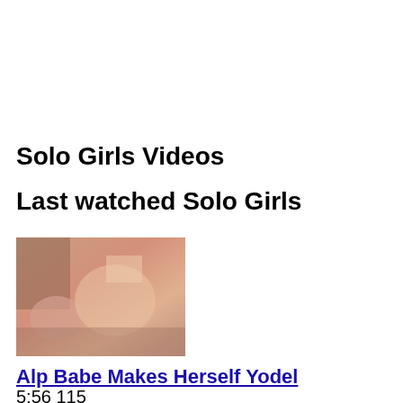Solo Girls Videos
Last watched Solo Girls
[Figure (photo): Thumbnail image of a video]
Alp Babe Makes Herself Yodel
5:56 115